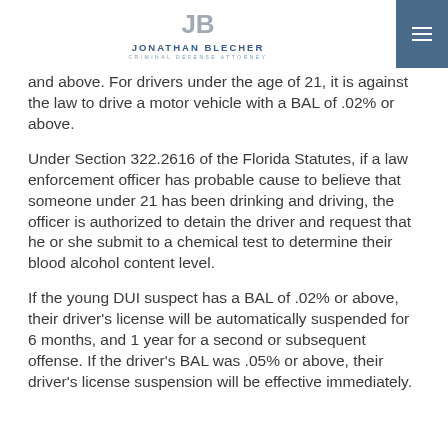Jonathan Blecher — Criminal Defense Attorney
and above. For drivers under the age of 21, it is against the law to drive a motor vehicle with a BAL of .02% or above.
Under Section 322.2616 of the Florida Statutes, if a law enforcement officer has probable cause to believe that someone under 21 has been drinking and driving, the officer is authorized to detain the driver and request that he or she submit to a chemical test to determine their blood alcohol content level.
If the young DUI suspect has a BAL of .02% or above, their driver's license will be automatically suspended for 6 months, and 1 year for a second or subsequent offense. If the driver's BAL was .05% or above, their driver's license suspension will be effective immediately.